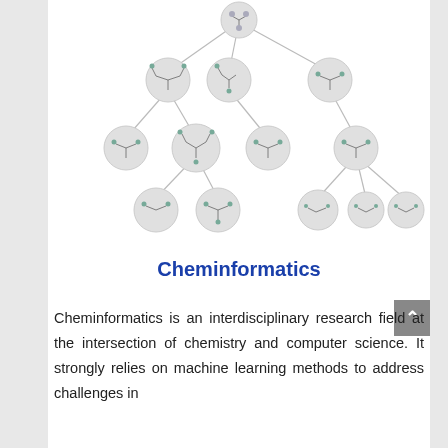[Figure (network-graph): A hierarchical tree diagram of molecular structures (chemical compounds shown as circle nodes connected by lines), arranged as a multi-level dendrogram with one root node at the top branching down through several levels to leaf nodes showing different molecular structures.]
Cheminformatics
Cheminformatics is an interdisciplinary research field at the intersection of chemistry and computer science. It strongly relies on machine learning methods to address challenges in